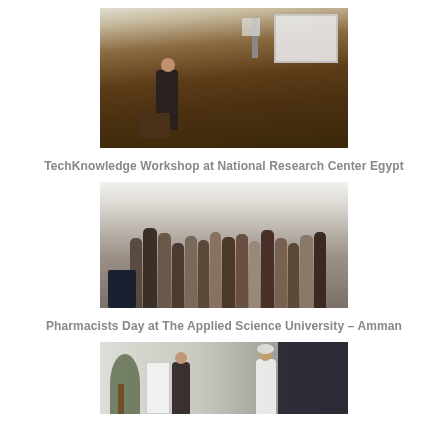[Figure (photo): A speaker presenting at a podium in a formal lecture hall or auditorium, with a projection screen behind and wooden paneling visible. The presenter is a man in a gray suit.]
TechKnowledge Workshop at National Research Center Egypt
[Figure (photo): A large group of people (approximately 20+) posing for a group photo in what appears to be a modern classroom or lab setting with computers visible.]
Pharmacists Day at The Applied Science University – Amman
[Figure (photo): A presentation or workshop scene showing two men, one near a flip chart and one in traditional Gulf Arab dress, in a modern room with a display screen visible.]